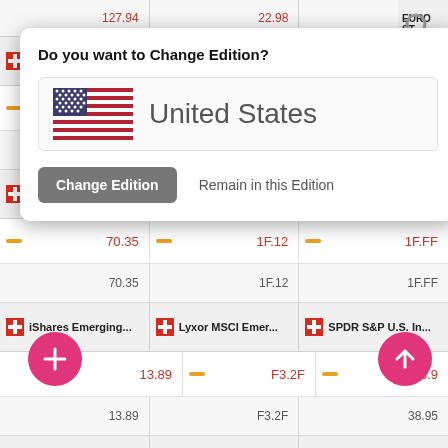[Figure (screenshot): Mobile finance app showing ETF listings with a 'Do you want to Change Edition?' dialog overlay. The dialog shows a US flag with 'United States' text, a 'Change Edition' button and 'Remain in this Edition' link. Behind the dialog are ETF fund rows with Swiss flag icons showing funds: iShares MSCI Chi..., db x-trackers MS..., L&G Longer Date..., SPDR S&P U.S. Te..., UBS Barclays US..., UBS Bloomberg B..., iShares Emerging..., Lyxor MSCI Emer..., SPDR S&P U.S. In... with values in Arabic-Indic numerals. Pink FAB buttons (+) and (up arrow) are visible.]